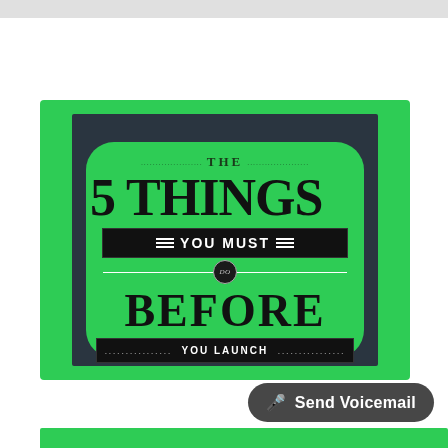[Figure (infographic): Promotional infographic with green border and dark background. Text reads: THE 5 THINGS YOU MUST DO BEFORE YOU LAUNCH]
Send Voicemail